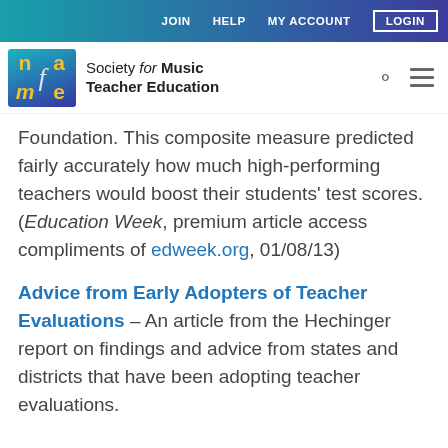JOIN  HELP  MY ACCOUNT  LOGIN
[Figure (logo): NAfME - Society for Music Teacher Education logo with search and menu icons]
Foundation. This composite measure predicted fairly accurately how much high-performing teachers would boost their students' test scores. (Education Week, premium article access compliments of edweek.org, 01/08/13)
Advice from Early Adopters of Teacher Evaluations – An article from the Hechinger report on findings and advice from states and districts that have been adopting teacher evaluations.
Some further text (partially visible at bottom)